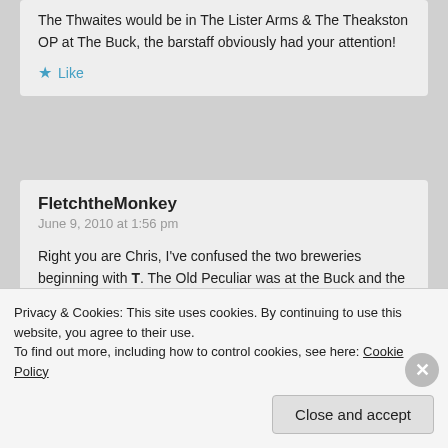The Thwaites would be in The Lister Arms & The Theakston OP at The Buck, the barstaff obviously had your attention!
Like
FletchtheMonkey
June 9, 2010 at 1:56 pm
Right you are Chris, I've confused the two breweries beginning with T. The Old Peculiar was at the Buck and the Thwaites at Listers. I think it was Wainwright for me and something darker for me Da!
Like
Privacy & Cookies: This site uses cookies. By continuing to use this website, you agree to their use.
To find out more, including how to control cookies, see here: Cookie Policy
Close and accept